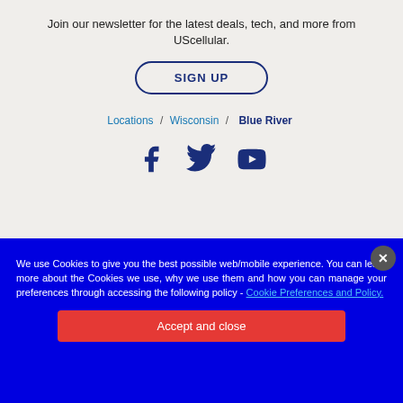Join our newsletter for the latest deals, tech, and more from UScellular.
SIGN UP
Locations / Wisconsin / Blue River
[Figure (illustration): Social media icons: Facebook, Twitter, YouTube in dark blue]
We use Cookies to give you the best possible web/mobile experience. You can learn more about the Cookies we use, why we use them and how you can manage your preferences through accessing the following policy - Cookie Preferences and Policy.
Accept and close